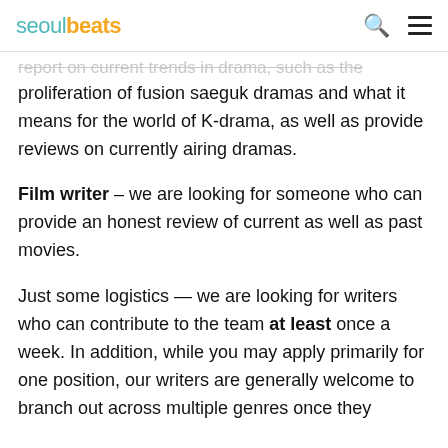seoulbeats
report on current trends in drama, such as the proliferation of fusion saeguk dramas and what it means for the world of K-drama, as well as provide reviews on currently airing dramas.
Film writer – we are looking for someone who can provide an honest review of current as well as past movies.
Just some logistics — we are looking for writers who can contribute to the team at least once a week. In addition, while you may apply primarily for one position, our writers are generally welcome to branch out across multiple genres once they